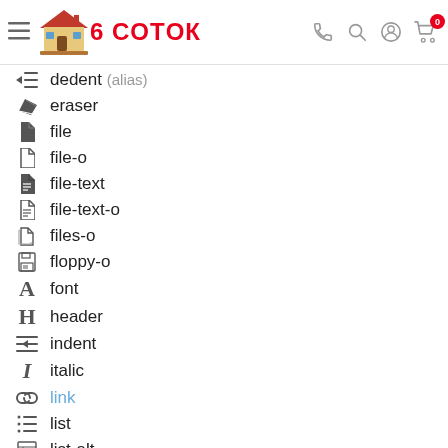6 СOТOК — navigation header with hamburger, logo, phone, search, account, cart icons
dedent (alias)
eraser
file
file-o
file-text
file-text-o
files-o
floppy-o
font
header
indent
italic
link
list
list-alt
list-ol